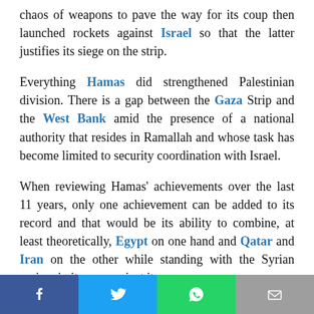chaos of weapons to pave the way for its coup then launched rockets against Israel so that the latter justifies its siege on the strip.
Everything Hamas did strengthened Palestinian division. There is a gap between the Gaza Strip and the West Bank amid the presence of a national authority that resides in Ramallah and whose task has become limited to security coordination with Israel.
When reviewing Hamas' achievements over the last 11 years, only one achievement can be added to its record and that would be its ability to combine, at least theoretically, Egypt on one hand and Qatar and Iran on the other while standing with the Syrian regime in its war against its
Social share bar: Facebook, Twitter, WhatsApp, Email